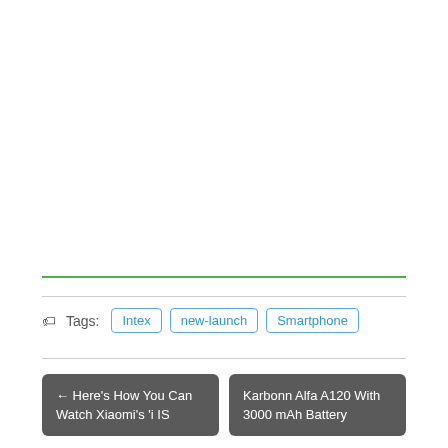Tags: Intex new-launch Smartphone
← Here's How You Can Watch Xiaomi's 'i IS
Karbonn Alfa A120 With 3000 mAh Battery